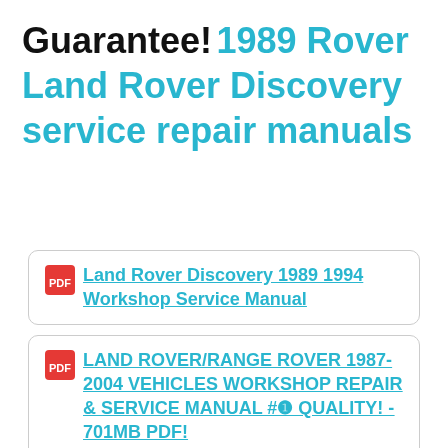Guarantee! 1989 Rover Land Rover Discovery service repair manuals
Land Rover Discovery 1989 1994 Workshop Service Manual
LAND ROVER/RANGE ROVER 1987-2004 VEHICLES WORKSHOP REPAIR & SERVICE MANUAL #❶ QUALITY! - 701MB PDF!
Land Rover Discovery Series I 1989-1994 Car Workshop Car Workshop Manual / Repair Manual